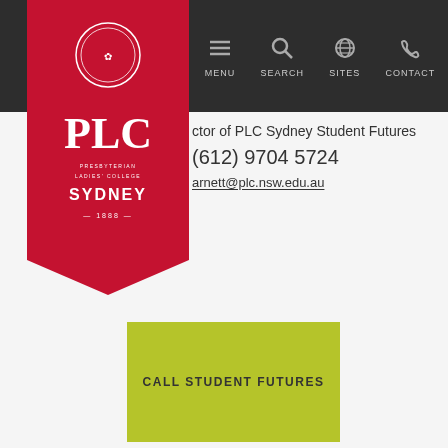[Figure (logo): PLC Sydney logo — red ribbon banner with circular crest, text PLC, PRESBYTERIAN LADIES' COLLEGE, SYDNEY, 1888]
MENU  SEARCH  SITES  CONTACT
...ctor of PLC Sydney Student Futures
(612) 9704 5724
...arnett@plc.nsw.edu.au
CALL STUDENT FUTURES
EMAIL STUDENT FUTURES